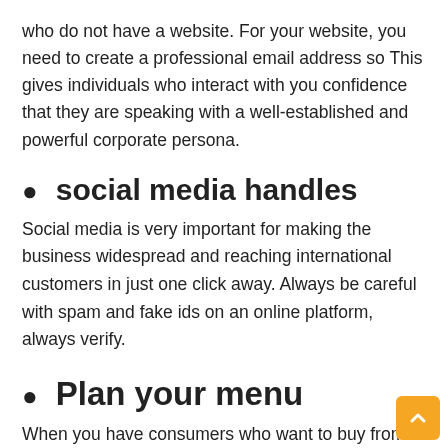who do not have a website. For your website, you need to create a professional email address so This gives individuals who interact with you confidence that they are speaking with a well-established and powerful corporate persona.
social media handles
Social media is very important for making the business widespread and reaching international customers in just one click away. Always be careful with spam and fake ids on an online platform, always verify.
Plan your menu
When you have consumers who want to buy from your business, a well-designed menu allows them to browse your